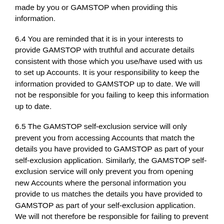made by you or GAMSTOP when providing this information.
6.4 You are reminded that it is in your interests to provide GAMSTOP with truthful and accurate details consistent with those which you use/have used with us to set up Accounts. It is your responsibility to keep the information provided to GAMSTOP up to date. We will not be responsible for you failing to keep this information up to date.
6.5 The GAMSTOP self-exclusion service will only prevent you from accessing Accounts that match the details you have provided to GAMSTOP as part of your self-exclusion application. Similarly, the GAMSTOP self-exclusion service will only prevent you from opening new Accounts where the personal information you provide to us matches the details you have provided to GAMSTOP as part of your self-exclusion application. We will not therefore be responsible for failing to prevent access to your Accounts or prohibiting the opening of new Accounts, in circumstances where this is directly or indirectly due to you providing inaccurate,